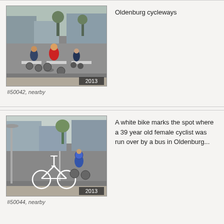[Figure (photo): Photo of cyclists on a road in Oldenburg, year 2013]
#50042, nearby
Oldenburg cycleways
[Figure (photo): Photo of a white ghost bike on the side of a road with a cyclist passing, year 2013]
#50044, nearby
A white bike marks the spot where a 39 year old female cyclist was run over by a bus in Oldenburg...